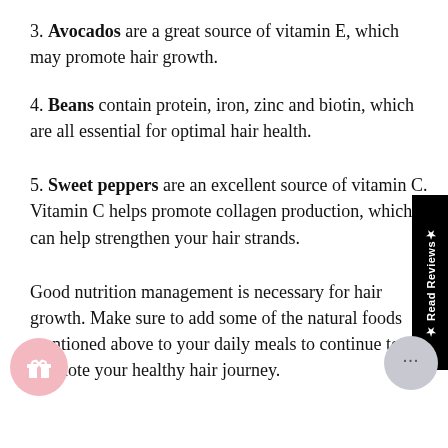3. Avocados are a great source of vitamin E, which may promote hair growth.
4. Beans contain protein, iron, zinc and biotin, which are all essential for optimal hair health.
5. Sweet peppers are an excellent source of vitamin C. Vitamin C helps promote collagen production, which can help strengthen your hair strands.
Good nutrition management is necessary for hair growth. Make sure to add some of the natural foods mentioned above to your daily meals to continue to promote your healthy hair journey.